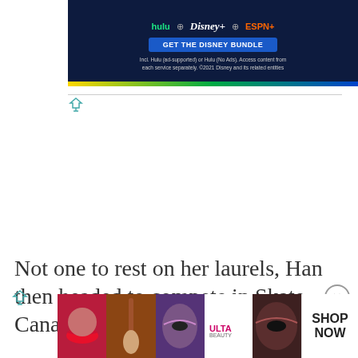[Figure (screenshot): Disney Bundle advertisement banner with Hulu, Disney+, ESPN+ logos, blue background, GET THE DISNEY BUNDLE button, color stripe bar]
[Figure (logo): Ad attribution icon (triangle/funnel shape) with horizontal rule line]
Not one to rest on her laurels, Han then headed to compete in Skate Canada in Kelowna, British Colum...
[Figure (screenshot): ULTA beauty advertisement banner at bottom with makeup photos and SHOP NOW text]